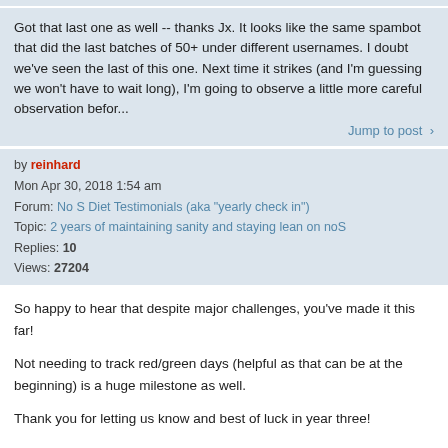Got that last one as well -- thanks Jx. It looks like the same spambot that did the last batches of 50+ under different usernames. I doubt we've seen the last of this one. Next time it strikes (and I'm guessing we won't have to wait long), I'm going to observe a little more careful observation befor...
Jump to post >
by reinhard
Mon Apr 30, 2018 1:54 am
Forum: No S Diet Testimonials (aka "yearly check in")
Topic: 2 years of maintaining sanity and staying lean on noS
Replies: 10
Views: 27204
So happy to hear that despite major challenges, you've made it this far!

Not needing to track red/green days (helpful as that can be at the beginning) is a huge milestone as well.

Thank you for letting us know and best of luck in year three!

Reinhard
Jump to post >
by reinhard
Mon Apr 30, 2018 1:50 am
Forum: No S Diet General Discussion